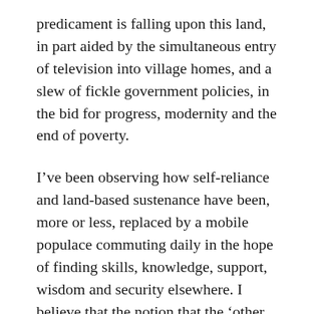predicament is falling upon this land, in part aided by the simultaneous entry of television into village homes, and a slew of fickle government policies, in the bid for progress, modernity and the end of poverty.
I’ve been observing how self-reliance and land-based sustenance have been, more or less, replaced by a mobile populace commuting daily in the hope of finding skills, knowledge, support, wisdom and security elsewhere. I believe that the notion that the ‘other is better’ than self and home, that this ‘other’ can be acquired through hard work, enterprise, subsidies and bank loans